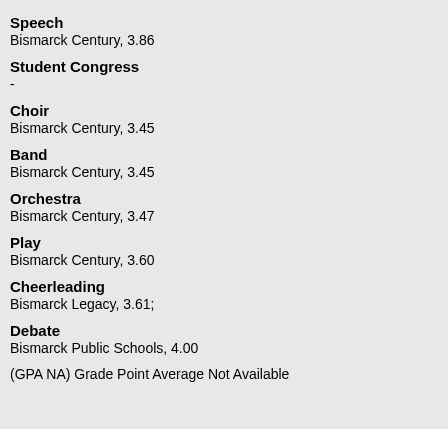Speech
Bismarck Century, 3.86
Student Congress
-
Choir
Bismarck Century, 3.45
Band
Bismarck Century, 3.45
Orchestra
Bismarck Century, 3.47
Play
Bismarck Century, 3.60
Cheerleading
Bismarck Legacy, 3.61;
Debate
Bismarck Public Schools, 4.00
(GPA NA) Grade Point Average Not Available